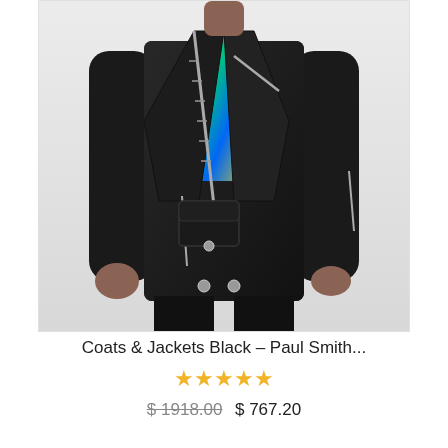[Figure (photo): Male model wearing a black leather biker jacket with silver zippers, open front showing a colorful printed shirt underneath, paired with black trousers. Light grey background.]
Coats & Jackets Black – Paul Smith...
★★★★★ (zero-fill stars)
$1918.00  $767.20